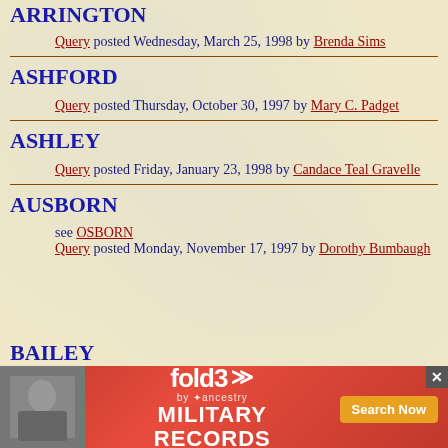ARRINGTON
Query posted Wednesday, March 25, 1998 by Brenda Sims
ASHFORD
Query posted Thursday, October 30, 1997 by Mary C. Padget
ASHLEY
Query posted Friday, January 23, 1998 by Candace Teal Gravelle
AUSBORN
see OSBORN
Query posted Monday, November 17, 1997 by Dorothy Bumbaugh
BAILEY
[Figure (infographic): fold3 Military Records advertisement banner with Search Now button]